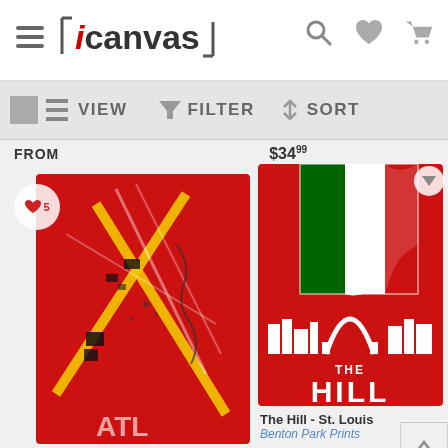iCanvas
VIEW   FILTER   SORT
FROM   $34.99
[Figure (illustration): Left canvas product: red background with airport runway diagram in yellow/white lines and black markings, partial text 'ATL' visible at bottom. Heart badge with number 5.]
[Figure (illustration): Right canvas product: red background with Italian-colored flag stripes (green, white, red), St. Louis Gateway Arch skyline in white, text 'THE HILL' in large white letters.]
The Hill - St. Louis
Benton Park Prints